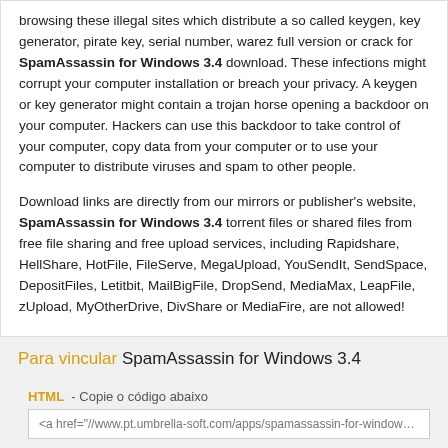browsing these illegal sites which distribute a so called keygen, key generator, pirate key, serial number, warez full version or crack for SpamAssassin for Windows 3.4 download. These infections might corrupt your computer installation or breach your privacy. A keygen or key generator might contain a trojan horse opening a backdoor on your computer. Hackers can use this backdoor to take control of your computer, copy data from your computer or to use your computer to distribute viruses and spam to other people.
Download links are directly from our mirrors or publisher's website, SpamAssassin for Windows 3.4 torrent files or shared files from free file sharing and free upload services, including Rapidshare, HellShare, HotFile, FileServe, MegaUpload, YouSendIt, SendSpace, DepositFiles, Letitbit, MailBigFile, DropSend, MediaMax, LeapFile, zUpload, MyOtherDrive, DivShare or MediaFire, are not allowed!
Para vincular SpamAssassin for Windows 3.4
HTML - Copie o código abaixo
<a href="//www.pt.umbrella-soft.com/apps/spamassassin-for-windows-3.4" targ
FACEBOOK/TWITTER - Copie o código abaixo
//www.pt.umbrella-soft.com/apps/spamassassin-for-windows-3.4
WIKI - Copie o código abaixo